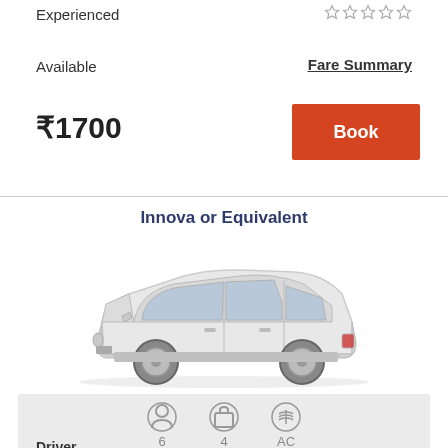Experienced
Available
Fare Summary
₹1700
Book
Innova or Equivalent
[Figure (photo): Side view of a white Toyota Innova or equivalent SUV/van]
6  4  AC
Driver
Experienced